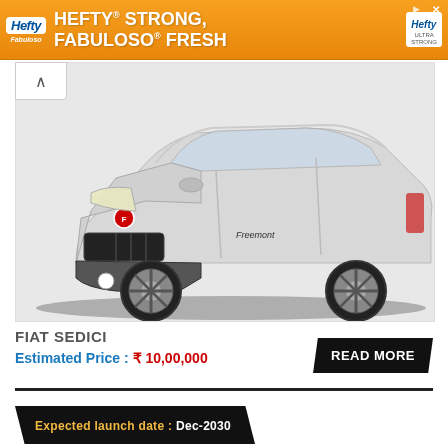[Figure (other): Hefty advertisement banner: HEFTY STRONG, FABULOSO FRESH with orange background]
[Figure (photo): Silver Fiat Sedici SUV car photographed from a front-side angle on white background]
FIAT SEDICI
Estimated Price : ₹ 10,00,000
READ MORE
Expected launch date : Dec-2030